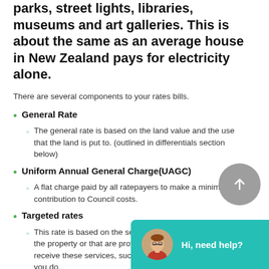parks, street lights, libraries, museums and art galleries. This is about the same as an average house in New Zealand pays for electricity alone.
There are several components to your rates bills.
General Rate
The general rate is based on the land value and the use that the land is put to. (outlined in differentials section below)
Uniform Annual General Charge(UAGC)
A flat charge paid by all ratepayers to make a minimum contribution to Council costs.
Targeted rates
This rate is based on the services that are connected to the property or that are provided to you. If you don't receive these services, such as ke... sewerage service, you do...
Regional Council Rates